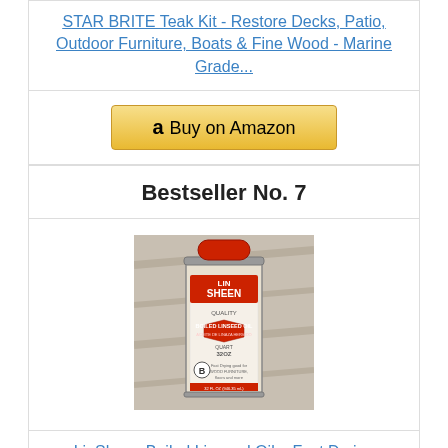STAR BRITE Teak Kit - Restore Decks, Patio, Outdoor Furniture, Boats & Fine Wood - Marine Grade...
[Figure (other): Buy on Amazon button with Amazon logo]
Bestseller No. 7
[Figure (photo): LinSheen Quality Boiled Linseed Oil can, metal tin with red cap]
LinSheen Boiled Linseed Oil – Fast Drying Flaxseed Wood Treatment to Rejuvenate and Restore...